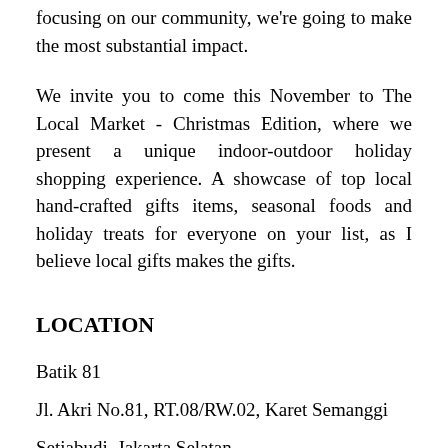focusing on our community, we're going to make the most substantial impact.
We invite you to come this November to The Local Market - Christmas Edition, where we present a unique indoor-outdoor holiday shopping experience. A showcase of top local hand-crafted gifts items, seasonal foods and holiday treats for everyone on your list, as I believe local gifts makes the gifts.
LOCATION
Batik 81
Jl. Akri No.81, RT.08/RW.02, Karet Semanggi
Setiabudi, Jakarta Selatan